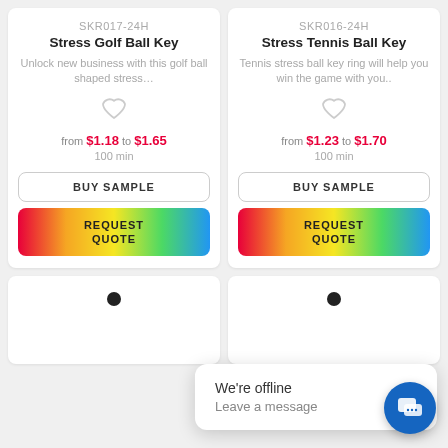SKR017-24H
Stress Golf Ball Key
Unlock new business with this golf ball shaped stress...
from $1.18 to $1.65
100 min
BUY SAMPLE
REQUEST QUOTE
SKR016-24H
Stress Tennis Ball Key
Tennis stress ball key ring will help you win the game with you..
from $1.23 to $1.70
100 min
BUY SAMPLE
REQUEST QUOTE
We're offline
Leave a message